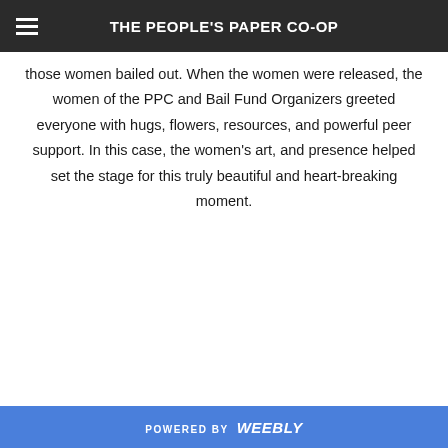THE PEOPLE'S PAPER CO-OP
those women bailed out. When the women were released, the women of the PPC and Bail Fund Organizers greeted everyone with hugs, flowers, resources, and powerful peer support. In this case, the women's art, and presence helped set the stage for this truly beautiful and heart-breaking moment.
POWERED BY weebly